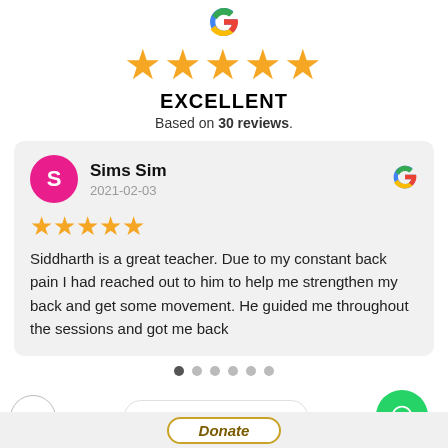[Figure (logo): Google G logo at top center]
[Figure (other): Five gold star rating]
EXCELLENT
Based on 30 reviews.
Sims Sim
2021-02-03
★★★★★
Siddharth is a great teacher. Due to my constant back pain I had reached out to him to help me strengthen my back and get some movement. He guided me throughout the sessions and got me back
[Figure (other): Carousel pagination dots, 6 dots with first active]
Need Help? Chat with us
[Figure (logo): WhatsApp green circle button]
Donate